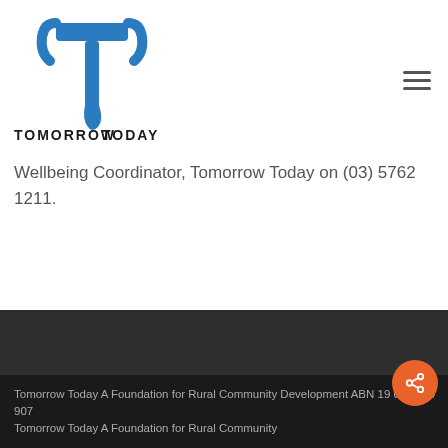[Figure (logo): Tomorrow Today foundation logo with stylized T shape in blue and black text reading TOMORROW TODAY]
Wellbeing Coordinator, Tomorrow Today on (03) 5762 1211.
Tomorrow Today A Foundation for Rural Community Development ABN 19 096 214 907
Tomorrow Today A Foundation for Rural Community